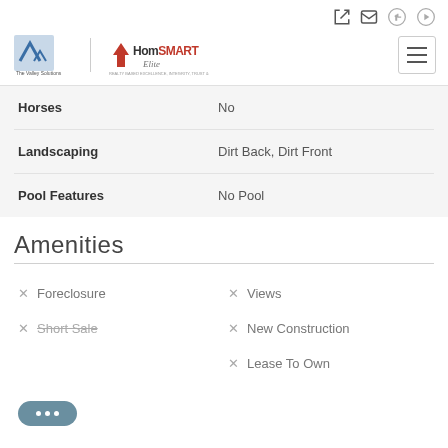[Figure (logo): Valley Solutions Team and HomeSmart Elite logo with divider]
| Horses | No |
| Landscaping | Dirt Back, Dirt Front |
| Pool Features | No Pool |
Amenities
× Foreclosure
× Views
× Short Sale
× New Construction
× Lease To Own